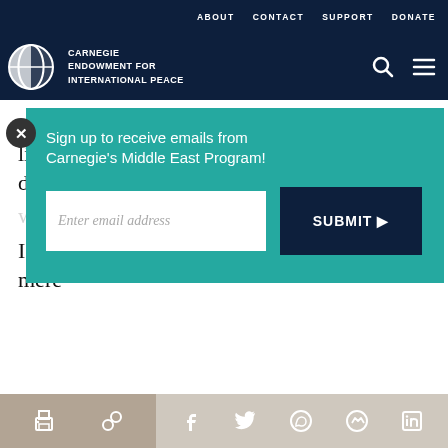ABOUT  CONTACT  SUPPORT  DONATE
[Figure (logo): Carnegie Endowment for International Peace logo with globe icon and navigation icons (search, menu)]
nature of the opposition. Be they Islamic, liberal or leftist, our opposition groups have a disturbing block
[Figure (screenshot): Email signup popup: 'Sign up to receive emails from Carnegie's Middle East Program!' with email input field and SUBMIT button, on teal/turquoise background]
I had assumed, perhaps mistakenly, that the mere
Share icons: print, link, Facebook, Twitter, WhatsApp, Messenger, LinkedIn